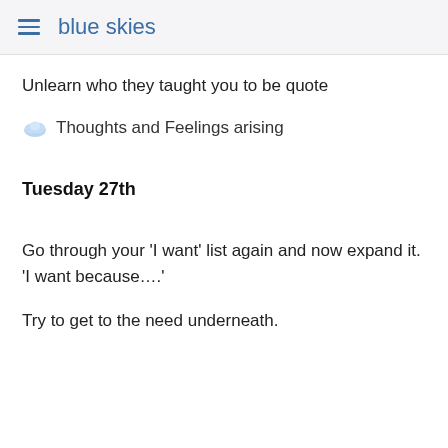blue skies
Unlearn who they taught you to be quote
💬 Thoughts and Feelings arising
Tuesday 27th
Go through your 'I want' list again and now expand it. 'I want because….'
Try to get to the need underneath.